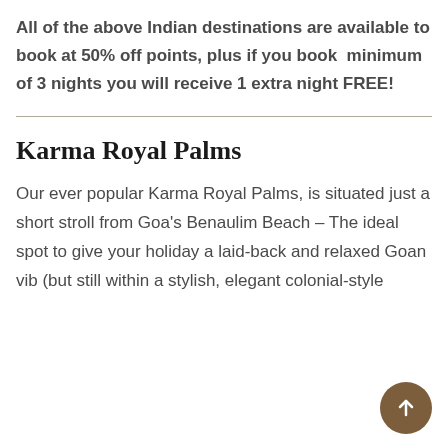All of the above Indian destinations are available to book at 50% off points, plus if you book  minimum of 3 nights you will receive 1 extra night FREE!
Karma Royal Palms
Our ever popular Karma Royal Palms, is situated just a short stroll from Goa's Benaulim Beach – The ideal spot to give your holiday a laid-back and relaxed Goan vib (but still within a stylish, elegant colonial-style